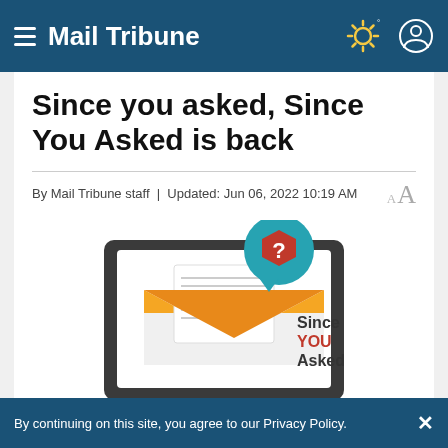Mail Tribune
Since you asked, Since You Asked is back
By Mail Tribune staff | Updated: Jun 06, 2022 10:19 AM
[Figure (illustration): Illustration showing a laptop with an open envelope and letter, a teal speech bubble with a red hexagon question mark, and the text 'Since YOU Asked']
By continuing on this site, you agree to our Privacy Policy.